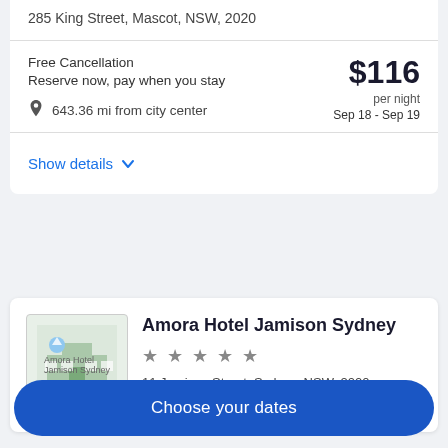285 King Street, Mascot, NSW, 2020
Free Cancellation
Reserve now, pay when you stay
643.36 mi from city center
$116 per night Sep 18 - Sep 19
Show details
Amora Hotel Jamison Sydney
★★★★★
11 Jamison Street, Sydney, NSW, 2000
Choose your dates